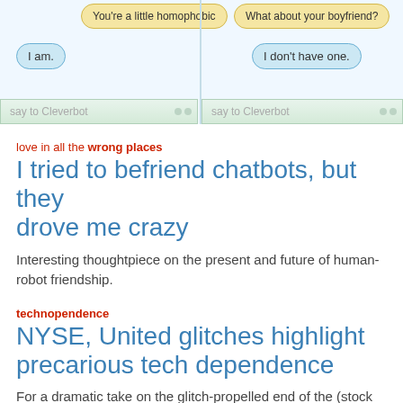[Figure (screenshot): Screenshot of Cleverbot chat interface showing two conversation windows. Left window shows bubbles: 'You're a little homophobic' (yellow) and 'I am.' (blue). Right window shows bubbles: 'What about your boyfriend?' (yellow) and 'I don't have one.' (blue). Both windows have green 'say to Cleverbot' input bars at bottom.]
love in all the wrong places
I tried to befriend chatbots, but they drove me crazy
Interesting thoughtpiece on the present and future of human-robot friendship.
technopendence
NYSE, United glitches highlight precarious tech dependence
For a dramatic take on the glitch-propelled end of the (stock market) world as we know it, give this a read.
yes yes yes yes